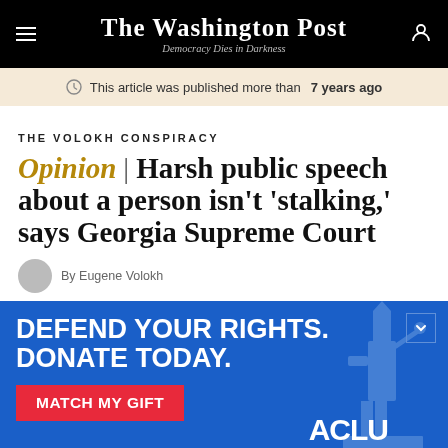The Washington Post — Democracy Dies in Darkness
This article was published more than 7 years ago
THE VOLOKH CONSPIRACY
Opinion | Harsh public speech about a person isn't 'stalking,' says Georgia Supreme Court
By Eugene Volokh
[Figure (advertisement): ACLU advertisement banner: DEFEND YOUR RIGHTS. DONATE TODAY. MATCH MY GIFT button in red, ACLU logo, Statue of Liberty graphic on blue background]